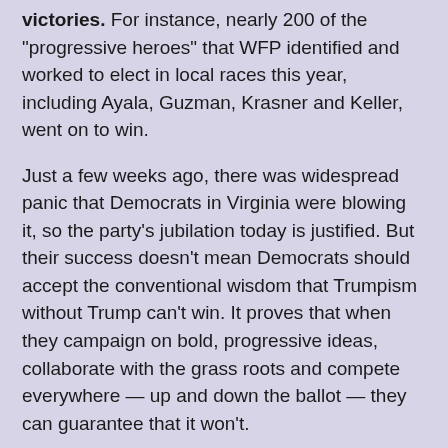victories. For instance, nearly 200 of the "progressive heroes" that WFP identified and worked to elect in local races this year, including Ayala, Guzman, Krasner and Keller, went on to win.
Just a few weeks ago, there was widespread panic that Democrats in Virginia were blowing it, so the party's jubilation today is justified. But their success doesn't mean Democrats should accept the conventional wisdom that Trumpism without Trump can't win. It proves that when they campaign on bold, progressive ideas, collaborate with the grass roots and compete everywhere — up and down the ballot — they can guarantee that it won't.
And this strategy would seem to do well in for Wisconsin Dems in 2018. The "divide and conquer" of Walkerism has failed miserably when it comes to raising living standards, and has denigrated communities through its defunding of roads and schools. Add in the rampant pay-for-play corruption and cronyism in the GOP-Capitol complex,